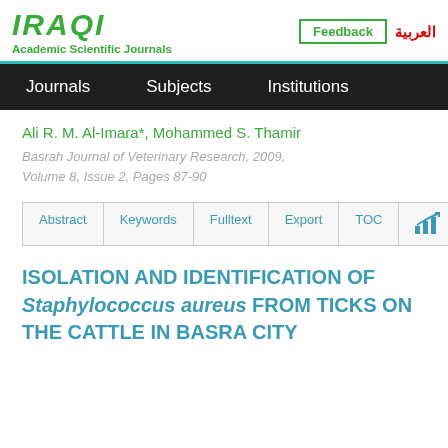IRAQI Academic Scientific Journals | Feedback | العربية
Journals | Subjects | Institutions
Ali R. M. Al-Imara*, Mohammed S. Thamir
Basrah Journal of Veterinary Research, 2009, Volume 8, Issue 2, Pages 87-90
Abstract | Keywords | Fulltext | Export | TOC
ISOLATION AND IDENTIFICATION OF Staphylococcus aureus FROM TICKS ON THE CATTLE IN BASRA CITY